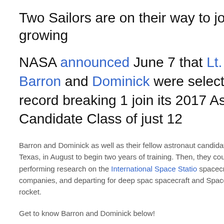Two Sailors are on their way to join the growing
NASA announced June 7 that Lt. Kayla Barron and Dominick were selected from a record breaking 1 join its 2017 Astronaut Candidate Class of just 12
Barron and Dominick as well as their fellow astronaut candidates will return to Houston, Texas, in August to begin two years of training. Then, they could go on missions, including: performing research on the International Space Station spacecraft built by commercial companies, and departing for deep space aboard spacecraft and Space Launch System rocket.
Get to know Barron and Dominick below!
Lt. Kayla Barron
As a submarine warfare officer, Lt. Kayla Barron was a member of the first submarine community. The Washington native graduated from the U.S. N degree in Systems Engineering in 2010. A Gates Cambridge Scholar, Barr Nuclear Engineering from the University of Cambridge.